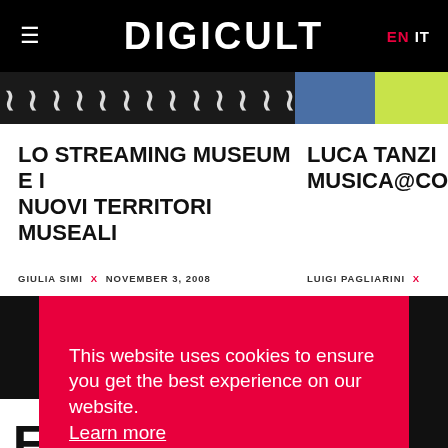DIGICULT  EN  IT
[Figure (screenshot): Partial image strip showing figurative silhouettes on left and blue/yellow-green color blocks on right]
LO STREAMING MUSEUM E I NUOVI TERRITORI MUSEALI
LUCA TANZI MUSICA@CO
GIULIA SIMI x NOVEMBER 3, 2008
LUIGI PAGLIARINI x
This website uses cookies to ensure you get the best experience on our website. Learn more
Got it